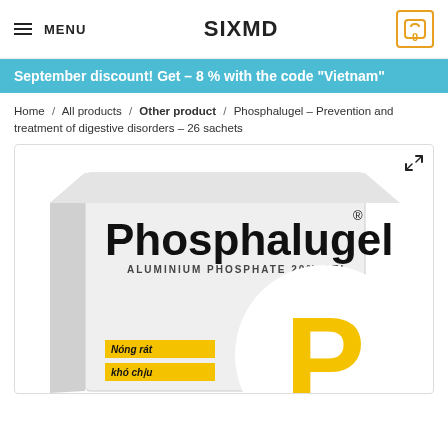MENU | SIXMD | 0
September discount! Get – 8 % with the code “Vietnam”
Home / All products / Other product / Phosphalugel – Prevention and treatment of digestive disorders – 26 sachets
[Figure (photo): Product photo of Phosphalugel box – Aluminium Phosphate 20% Gel with large yellow P logo and Vietnamese text labels Nóng rất and khó chịu]